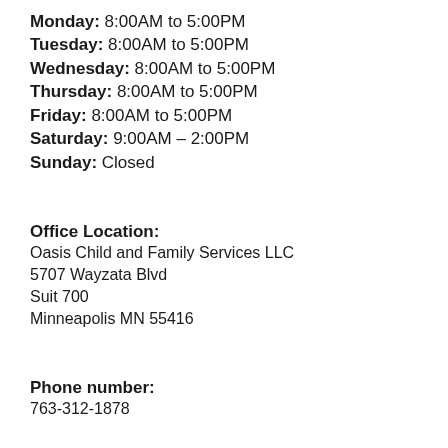Monday: 8:00AM to 5:00PM
Tuesday: 8:00AM to 5:00PM
Wednesday: 8:00AM to 5:00PM
Thursday: 8:00AM to 5:00PM
Friday: 8:00AM to 5:00PM
Saturday: 9:00AM – 2:00PM
Sunday: Closed
Office Location:
Oasis Child and Family Services LLC
5707 Wayzata Blvd
Suit 700
Minneapolis MN 55416
Phone number:
763-312-1878